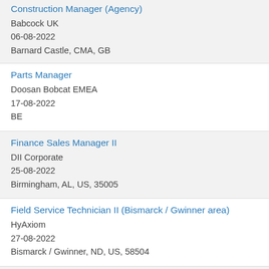Construction Manager (Agency)
Babcock UK
06-08-2022
Barnard Castle, CMA, GB
Parts Manager
Doosan Bobcat EMEA
17-08-2022
BE
Finance Sales Manager II
DII Corporate
25-08-2022
Birmingham, AL, US, 35005
Field Service Technician II (Bismarck / Gwinner area)
HyAxiom
27-08-2022
Bismarck / Gwinner, ND, US, 58504
Simulation Engineer
Babcock